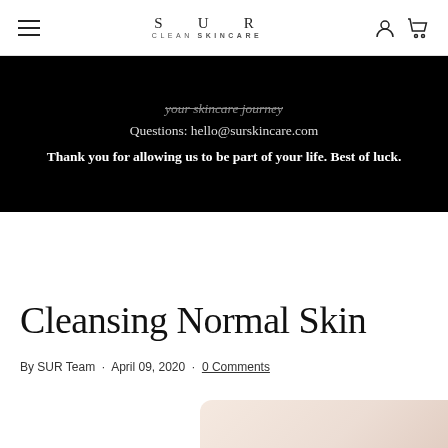SUR CLEANSKINCARE — navigation bar with hamburger menu, logo, user and cart icons
your skincare journey
Questions: hello@surskincare.com
Thank you for allowing us to be part of your life. Best of luck.
Cleansing Normal Skin
By SUR Team · April 09, 2020 · 0 Comments
[Figure (photo): Partial view of a skincare product or skin image with soft peachy-beige tones in the bottom right corner]